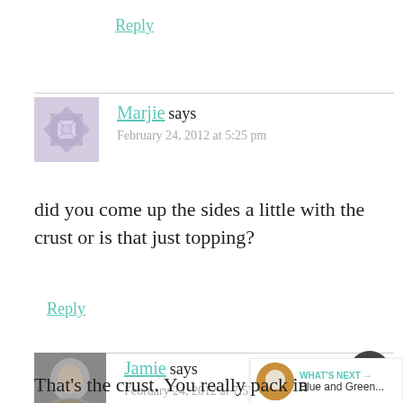Reply
Marjie says
February 24, 2012 at 5:25 pm
did you come up the sides a little with the crust or is that just topping?
Reply
Jamie says
February 24, 2012 at 7:57 pm
That's the crust. You really pack in